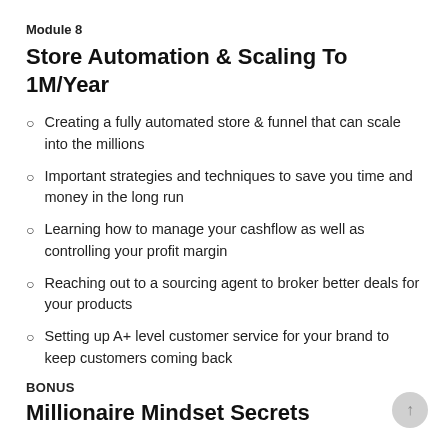Module 8
Store Automation & Scaling To 1M/Year
Creating a fully automated store & funnel that can scale into the millions
Important strategies and techniques to save you time and money in the long run
Learning how to manage your cashflow as well as controlling your profit margin
Reaching out to a sourcing agent to broker better deals for your products
Setting up A+ level customer service for your brand to keep customers coming back
BONUS
Millionaire Mindset Secrets